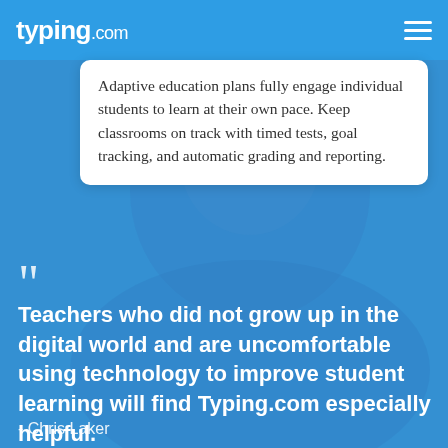typing.com
Adaptive education plans fully engage individual students to learn at their own pace. Keep classrooms on track with timed tests, goal tracking, and automatic grading and reporting.
Teachers who did not grow up in the digital world and are uncomfortable using technology to improve student learning will find Typing.com especially helpful.
- Chris Laker